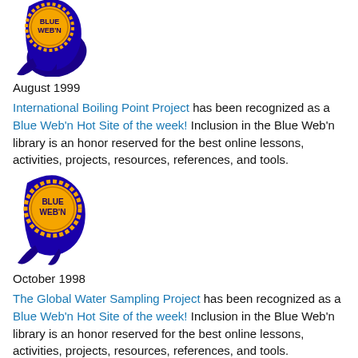[Figure (logo): Blue Web'n award badge - blue ribbon/wave with gold circular seal reading 'BLUE WEB'N', partially cropped at top]
August 1999
International Boiling Point Project has been recognized as a Blue Web'n Hot Site of the week! Inclusion in the Blue Web'n library is an honor reserved for the best online lessons, activities, projects, resources, references, and tools.
[Figure (logo): Blue Web'n award badge - blue ribbon/wave with gold circular seal reading 'BLUE WEB'N']
October 1998
The Global Water Sampling Project has been recognized as a Blue Web'n Hot Site of the week! Inclusion in the Blue Web'n library is an honor reserved for the best online lessons, activities, projects, resources, references, and tools.